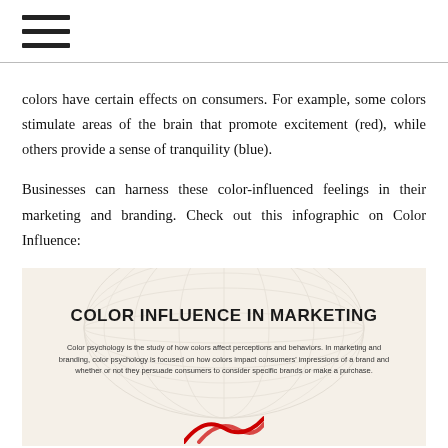≡
colors have certain effects on consumers. For example, some colors stimulate areas of the brain that promote excitement (red), while others provide a sense of tranquility (blue).
Businesses can harness these color-influenced feelings in their marketing and branding. Check out this infographic on Color Influence:
[Figure (infographic): Infographic titled 'COLOR INFLUENCE IN MARKETING' on a cream/beige background with a faint globe watermark. Subtitle text: 'Color psychology is the study of how colors affect perceptions and behaviors. In marketing and branding, color psychology is focused on how colors impact consumers' impressions of a brand and whether or not they persuade consumers to consider specific brands or make a purchase.' Red decorative arrow/swoosh elements visible at the bottom.]